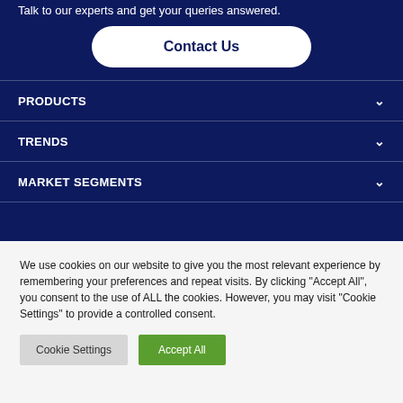Talk to our experts and get your queries answered.
Contact Us
PRODUCTS
TRENDS
MARKET SEGMENTS
We use cookies on our website to give you the most relevant experience by remembering your preferences and repeat visits. By clicking "Accept All", you consent to the use of ALL the cookies. However, you may visit "Cookie Settings" to provide a controlled consent.
Cookie Settings
Accept All